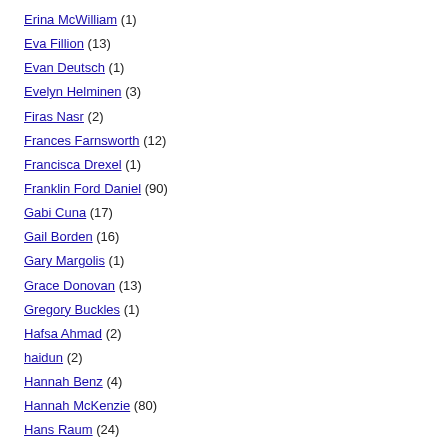Erina McWilliam (1)
Eva Fillion (13)
Evan Deutsch (1)
Evelyn Helminen (3)
Firas Nasr (2)
Frances Farnsworth (12)
Francisca Drexel (1)
Franklin Ford Daniel (90)
Gabi Cuna (17)
Gail Borden (16)
Gary Margolis (1)
Grace Donovan (13)
Gregory Buckles (1)
Hafsa Ahmad (2)
haidun (2)
Hannah Benz (4)
Hannah McKenzie (80)
Hans Raum (24)
Hans Raum (1)